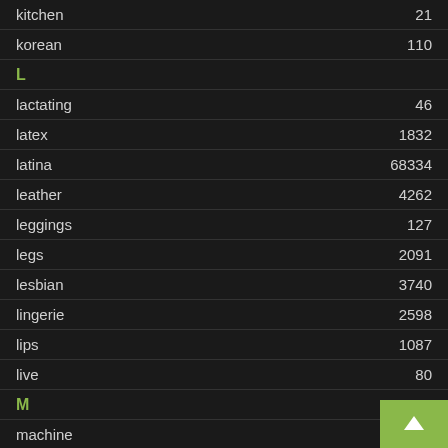kitchen  21
korean  110
L
lactating  46
latex  1832
latina  68334
leather  4262
leggings  127
legs  2091
lesbian  3740
lingerie  2598
lips  1087
live  80
M
machine